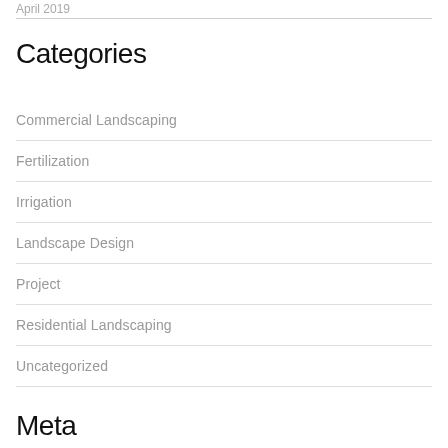April 2019
Categories
Commercial Landscaping
Fertilization
Irrigation
Landscape Design
Project
Residential Landscaping
Uncategorized
Meta